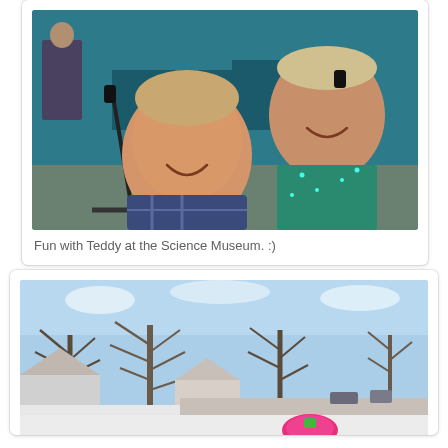[Figure (photo): Two children smiling at the Science Museum. A younger boy in a plaid shirt in a stroller and an older girl in a teal sparkly top.]
Fun with Teddy at the Science Museum. :)
[Figure (photo): A winter outdoor scene showing a snow-covered residential street with bare trees and houses visible.]